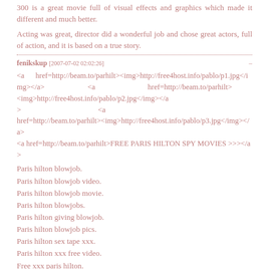300 is a great movie full of visual effects and graphics which made it different and much better.
Acting was great, director did a wonderful job and chose great actors, full of action, and it is based on a true story.
fenikskup [2007-07-02 02:02:26]
<a      href=http://beam.to/parhilt><img>http://free4host.info/pablo/p1.jpg</img></a>                      <a                            href=http://beam.to/parhilt><img>http://free4host.info/pablo/p2.jpg</img></a>                                                                   <a href=http://beam.to/parhilt><img>http://free4host.info/pablo/p3.jpg</img></a> <a href=http://beam.to/parhilt>FREE PARIS HILTON SPY MOVIES >>></a>
Paris hilton blowjob.
Paris hilton blowjob video.
Paris hilton blowjob movie.
Paris hilton blowjobs.
Paris hilton giving blowjob.
Paris hilton blowjob pics.
Paris hilton sex tape xxx.
Paris hilton xxx free video.
Free xxx paris hilton.
Paris hilton nude xxx.
Paris hilton sex xxx.